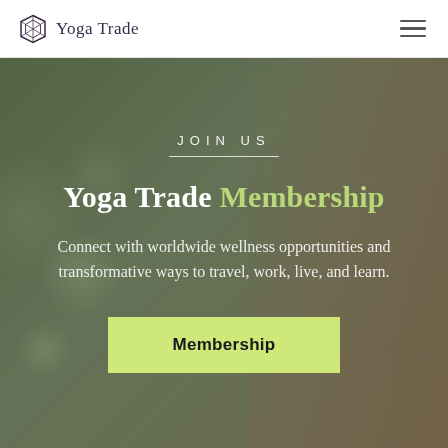Yoga Trade
JOIN US
Yoga Trade Membership
Connect with worldwide wellness opportunities and transformative ways to travel, work, live, and learn.
Membership